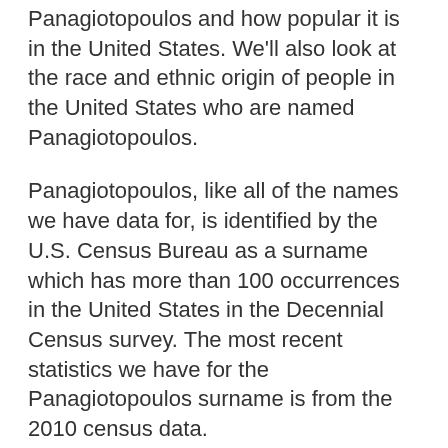Panagiotopoulos and how popular it is in the United States. We'll also look at the race and ethnic origin of people in the United States who are named Panagiotopoulos.
Panagiotopoulos, like all of the names we have data for, is identified by the U.S. Census Bureau as a surname which has more than 100 occurrences in the United States in the Decennial Census survey. The most recent statistics we have for the Panagiotopoulos surname is from the 2010 census data.